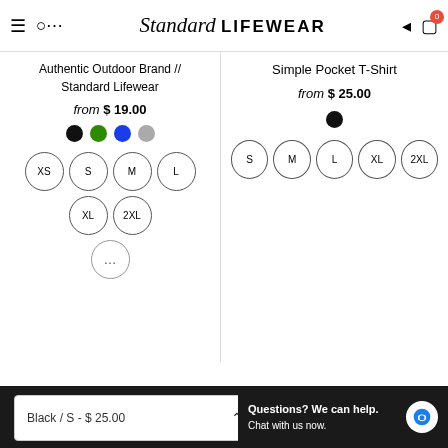Standard Lifewear
Authentic Outdoor Brand // Standard Lifewear
from $ 19.00
Simple Pocket T-Shirt
from $ 25.00
Home | INFORMATION
Black / S - $ 25.00
Questions? We can help. Chat with us now.